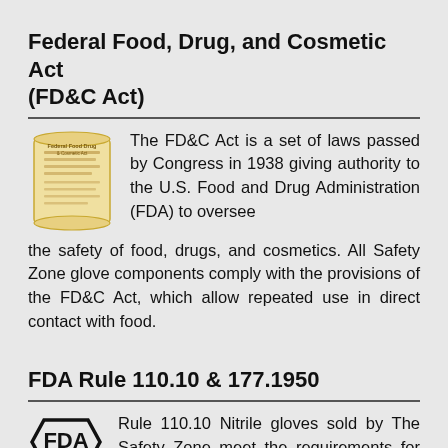Federal Food, Drug, and Cosmetic Act (FD&C Act)
The FD&C Act is a set of laws passed by Congress in 1938 giving authority to the U.S. Food and Drug Administration (FDA) to oversee the safety of food, drugs, and cosmetics. All Safety Zone glove components comply with the provisions of the FD&C Act, which allow repeated use in direct contact with food.
FDA Rule 110.10 & 177.1950
Rule 110.10 Nitrile gloves sold by The Safety Zone meet the requirements for handling of human food in both the manufacturing and packaging phases of production.